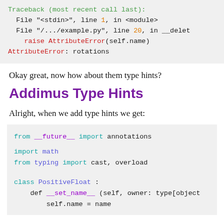[Figure (screenshot): Code block showing a Python traceback error: Traceback (most recent call last): File '<stdin>', line 1, in <module>; File '/.../example.py', line 20, in __delet; raise AttributeError(self.name); AttributeError: rotations]
Okay great, now how about them type hints?
Addimus Type Hints
Alright, when we add type hints we get:
[Figure (screenshot): Python code block: from __future__ import annotations; import math; from typing import cast, overload; class PositiveFloat:; def __set_name__(self, owner: type[object; self.name = name]